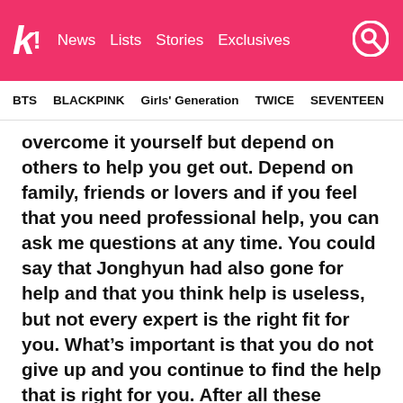K! News Lists Stories Exclusives
BTS BLACKPINK Girls' Generation TWICE SEVENTEEN
overcome it yourself but depend on others to help you get out. Depend on family, friends or lovers and if you feel that you need professional help, you can ask me questions at any time. You could say that Jonghyun had also gone for help and that you think help is useless, but not every expert is the right fit for you. What’s important is that you do not give up and you continue to find the help that is right for you. After all these experts are also human.